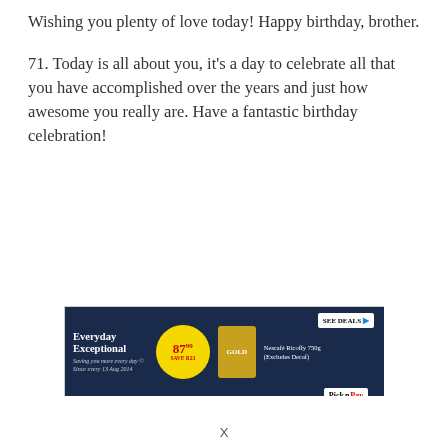Wishing you plenty of love today! Happy birthday, brother.
71. Today is all about you, it’s a day to celebrate all that you have accomplished over the years and just how awesome you really are. Have a fantastic birthday celebration!
[Figure (other): Pick n Pay advertisement banner: dark navy background with 'Everyday Exceptional' text, yellow circle showing price 87.99, Nescafé Ricoffy 750g product, SEE DEALS button, and Pick n Pay logo]
X